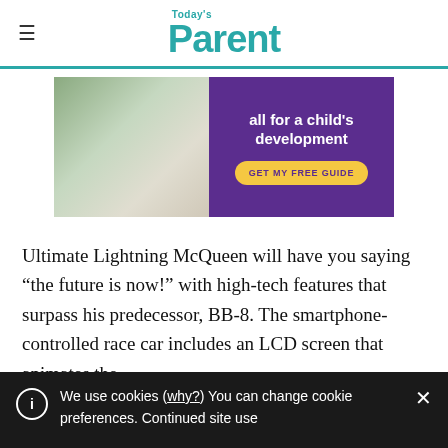Today's Parent
[Figure (infographic): Advertisement banner with child playing with wooden toys on left, purple background on right with text 'all for a child's development' and a yellow button 'GET MY FREE GUIDE']
Ultimate Lightning McQueen will have you saying “the future is now!” with high-tech features that surpass his predecessor, BB-8. The smartphone-controlled race car includes an LCD screen that animates the
We use cookies (why?) You can change cookie preferences. Continued site use